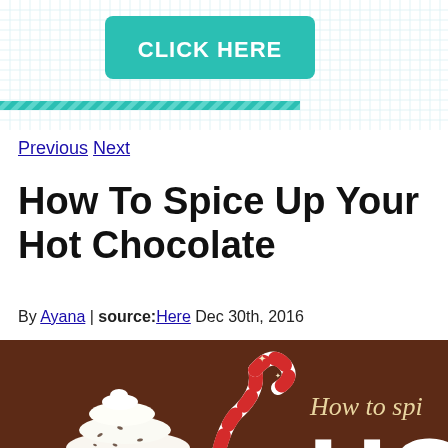[Figure (infographic): Teal 'CLICK HERE' button on white background with blue grid pattern and teal diagonal stripe divider below]
Previous  Next
How To Spice Up Your Hot Chocolate
By Ayana | source:Here  Dec 30th, 2016
[Figure (infographic): Infographic banner with dark brown background showing whipped cream topped hot chocolate with a red and white candy cane, cursive text 'How to spi...' and large white letter 'H' partially visible, with pink reflection below]